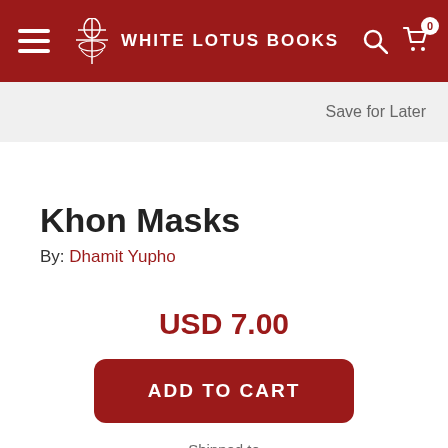White Lotus Books
Save for Later
Khon Masks
By: Dhamit Yupho
USD 7.00
ADD TO CART
Shipped to